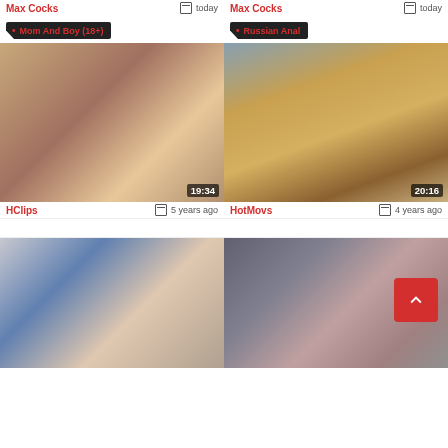Max Cocks — today (top left)
Max Cocks — today (top right)
Mom And Boy (18+)
Russian Anal
[Figure (photo): Video thumbnail showing intimate scene, duration 19:34]
[Figure (photo): Video thumbnail of outdoor savanna scene with tree, duration 20:16]
HClips — 5 years ago
HotMovs — 4 years ago
[Figure (photo): Video thumbnail of indoor scene with two people]
[Figure (photo): Video thumbnail of intimate scene with scroll-to-top button overlay]